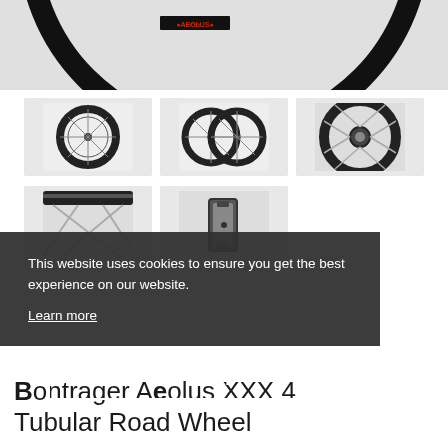[Figure (photo): Top portion of a black carbon bicycle wheel rim with brand label visible against white background]
[Figure (photo): Single black road bicycle wheel with spokes, front view]
[Figure (photo): Pair of black road bicycle wheels overlapping, front view]
[Figure (photo): Close-up of bicycle wheel hub with spokes radiating outward]
[Figure (photo): Close-up of bicycle wheel spokes and tire sidewall]
[Figure (photo): Close-up of bicycle rim profile/cross-section]
This website uses cookies to ensure you get the best experience on our website.
Learn more
Got it!
Bontrager Aeolus XXX 4 Tubular Road Wheel